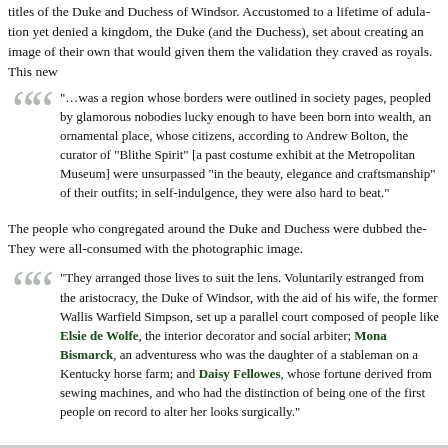titles of the Duke and Duchess of Windsor. Accustomed to a lifetime of adulation yet denied a kingdom, the Duke (and the Duchess), set about creating an image of their own that would given them the validation they craved as royals. This new
"…was a region whose borders were outlined in society pages, peopled by glamorous nobodies lucky enough to have been born into wealth, an ornamental place, whose citizens, according to Andrew Bolton, the curator of "Blithe Spirit" [a past costume exhibit at the Metropolitan Museum] were unsurpassed "in the beauty, elegance and craftsmanship" of their outfits; in self-indulgence, they were also hard to beat."
The people who congregated around the Duke and Duchess were dubbed the They were all-consumed with the photographic image.
"They arranged those lives to suit the lens. Voluntarily estranged from the aristocracy, the Duke of Windsor, with the aid of his wife, the former Wallis Warfield Simpson, set up a parallel court composed of people like Elsie de Wolfe, the interior decorator and social arbiter; Mona Bismarck, an adventuress who was the daughter of a stableman on a Kentucky horse farm; and Daisy Fellowes, whose fortune derived from sewing machines, and who had the distinction of being one of the first people on record to alter her looks surgically."